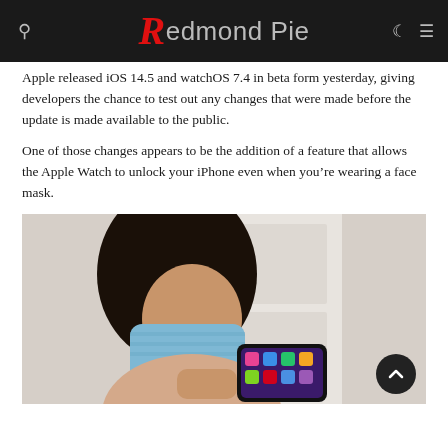Redmond Pie
Apple released iOS 14.5 and watchOS 7.4 in beta form yesterday, giving developers the chance to test out any changes that were made before the update is made available to the public.
One of those changes appears to be the addition of a feature that allows the Apple Watch to unlock your iPhone even when you’re wearing a face mask.
[Figure (photo): A person wearing a blue face mask holding an iPhone while standing near a door.]